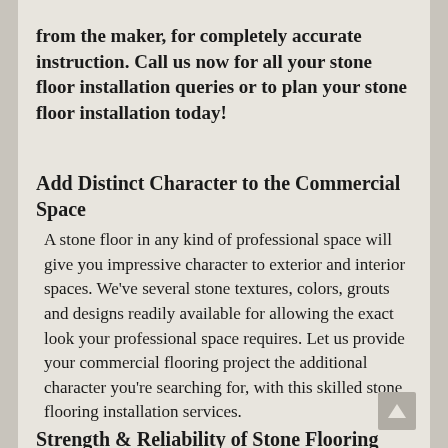from the maker, for completely accurate instruction. Call us now for all your stone floor installation queries or to plan your stone floor installation today!
Add Distinct Character to the Commercial Space
A stone floor in any kind of professional space will give you impressive character to exterior and interior spaces. We've several stone textures, colors, grouts and designs readily available for allowing the exact look your professional space requires. Let us provide your commercial flooring project the additional character you're searching for, with this skilled stone flooring installation services.
Strength & Reliability of Stone Flooring